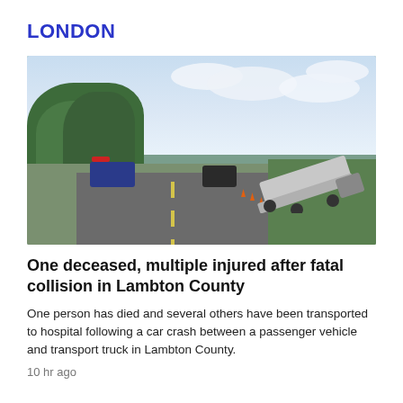LONDON
[Figure (photo): Road scene showing a highway in Lambton County with a police car on the left side of the road, a dark van stopped in the middle of the road, traffic cones, and an overturned transport truck in the ditch on the right side. Trees are visible on the left, partially cloudy sky above, and green grass on the right.]
One deceased, multiple injured after fatal collision in Lambton County
One person has died and several others have been transported to hospital following a car crash between a passenger vehicle and transport truck in Lambton County.
10 hr ago